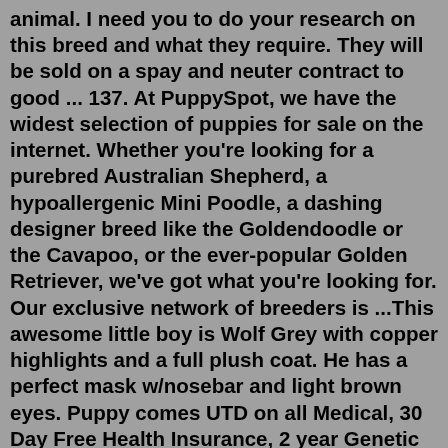animal. I need you to do your research on this breed and what they require. They will be sold on a spay and neuter contract to good ... 137. At PuppySpot, we have the widest selection of puppies for sale on the internet. Whether you're looking for a purebred Australian Shepherd, a hypoallergenic Mini Poodle, a dashing designer breed like the Goldendoodle or the Cavapoo, or the ever-popular Golden Retriever, we've got what you're looking for. Our exclusive network of breeders is ...This awesome little boy is Wolf Grey with copper highlights and a full plush coat. He has a perfect mask w/nosebar and light brown eyes. Puppy comes UTD on all Medical, 30 Day Free Health Insurance, 2 year Genetic Guarantee and AKC papers. Apr 29, 2021 · Genuine 100% Wolf puppy CITES Proven. REFERENCE ONLY: Animals listed have been sold or removed. Name: Tom. Posted: 04/29/2021. Location: Montana. ID #64725. Here is an opportunity to own something unique indeed. these puppies are full blood Gray Wolf of the Minnesota/Montana variety. These are hot a world